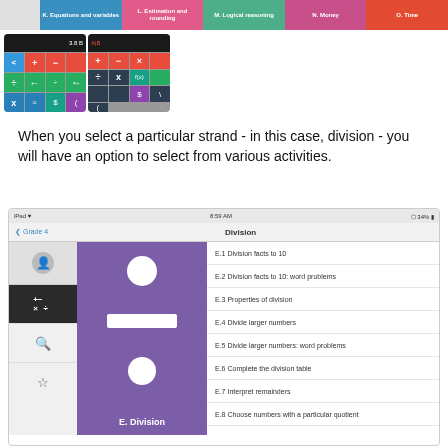[Figure (screenshot): Top navigation bar showing math topic categories: K. Equations and variables, L. Estimation and rounding, M. Logical reasoning, N. Money, O. Time]
[Figure (screenshot): Two screenshots of a math app showing colorful calculator-style grids with operation symbols]
When you select a particular strand - in this case, division - you will have an option to select from various activities.
[Figure (screenshot): iPad screenshot showing the Division section of a math app (Grade 4) with a list of activities: E.1 Division facts to 10, E.2 Division facts to 10: word problems, E.3 Properties of division, E.4 Divide larger numbers, E.5 Divide larger numbers: word problems, E.6 Complete the division table, E.7 Interpret remainders, E.8 Choose numbers with a particular quotient, E.9 Divide numbers ending in zeroes]